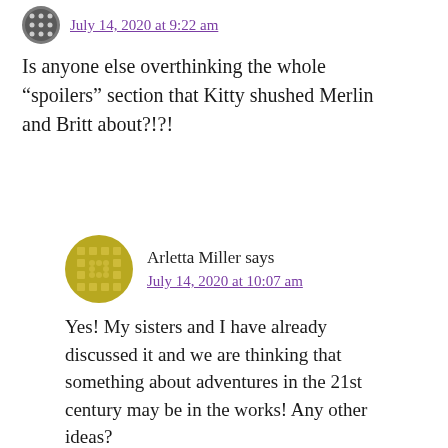July 14, 2020 at 9:22 am
Is anyone else overthinking the whole “spoilers” section that Kitty shushed Merlin and Britt about?!?!
Arletta Miller says
July 14, 2020 at 10:07 am
Yes! My sisters and I have already discussed it and we are thinking that something about adventures in the 21st century may be in the works! Any other ideas?